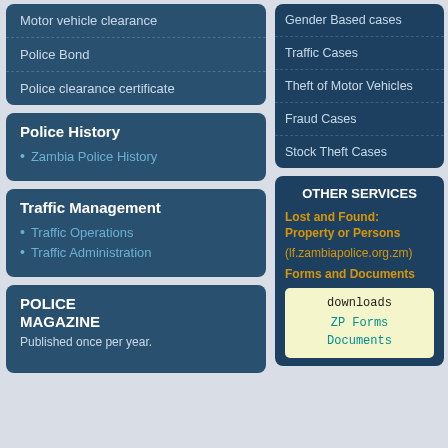Motor vehicle clearance
Police Bond
Police clearance certificate
Police History
Zambia Police History
Traffic Management
Traffic Operations
Traffic Administration
POLICE MAGAZINE
Published once per year.
Gender Based cases
Traffic Cases
Theft of Motor Vehicles
Fraud Cases
Stock Theft Cases
OTHER SERVICES
Lost and Found: Property or Persons (lf.zambiapolice.org.zm)
Forms and Documents
downloads
ZP Forms
Documents